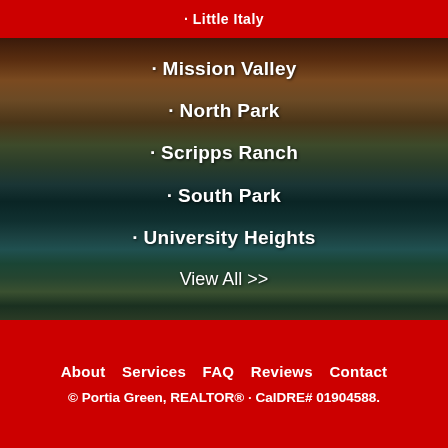· Little Italy
· Mission Valley
· North Park
· Scripps Ranch
· South Park
· University Heights
View All >>
About   Services   FAQ   Reviews   Contact
© Portia Green, REALTOR® · CalDRE# 01904588.